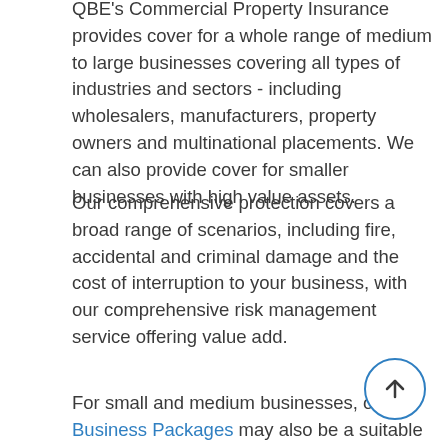QBE's Commercial Property Insurance provides cover for a whole range of medium to large businesses covering all types of industries and sectors - including wholesalers, manufacturers, property owners and multinational placements. We can also provide cover for smaller businesses with high value assets.
Our comprehensive protection covers a broad range of scenarios, including fire, accidental and criminal damage and the cost of interruption to your business, with our comprehensive risk management service offering value add.
For small and medium businesses, our Business Packages may also be a suitable option.
Our Property insurance is available through brokers and QBE authorised representatives. They'll ensure your cover works for you and if you need to make a claim they'll guide you through our hassle-free claims